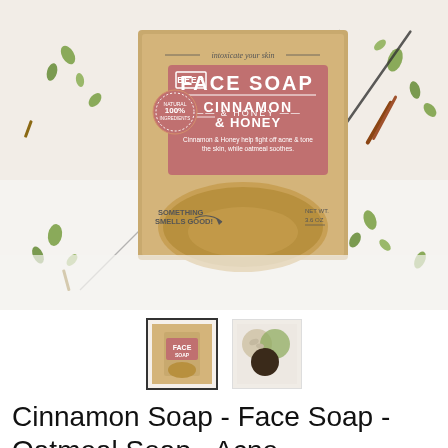[Figure (photo): Product photo of Beer Face Soap - Cinnamon & Honey bar, in kraft paper packaging with pink/mauve label, surrounded by scattered seeds, oats, cinnamon sticks and herbs on white background. Box reads 'intoxicate your skin', 'BEER FACE SOAP', 'CINNAMON & HONEY', '100% Natural', 'Something Smells Good!', 'NET WT. 3.6 OZ']
[Figure (photo): Thumbnail 1 (selected): Beer Face Soap box thumbnail with kraft background and pink label]
[Figure (photo): Thumbnail 2: Ingredient circles thumbnail showing oats and dark seeds]
Cinnamon Soap - Face Soap - Oatmeal Soap - Acne